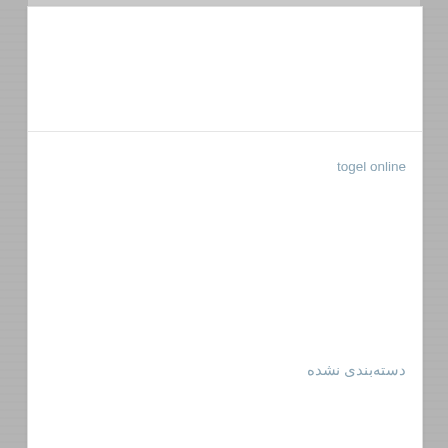togel online
دسته‌بندی نشده
نمایش بیشتر